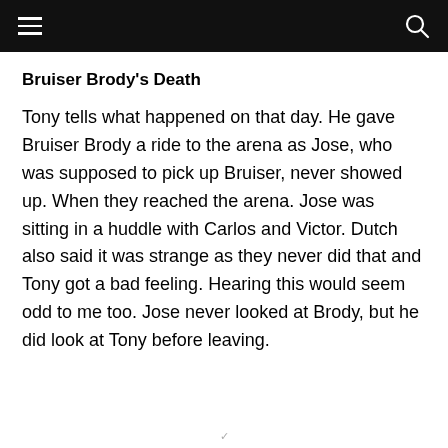Bruiser Brody's Death
Tony tells what happened on that day. He gave Bruiser Brody a ride to the arena as Jose, who was supposed to pick up Bruiser, never showed up. When they reached the arena. Jose was sitting in a huddle with Carlos and Victor. Dutch also said it was strange as they never did that and Tony got a bad feeling. Hearing this would seem odd to me too. Jose never looked at Brody, but he did look at Tony before leaving.